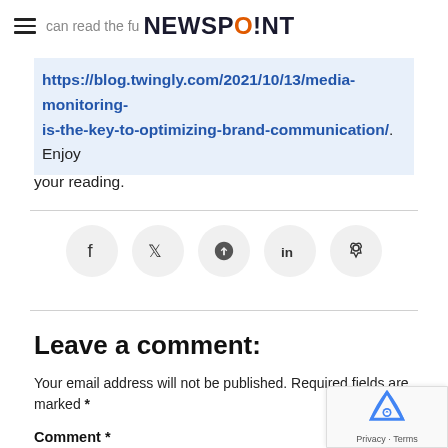can read the full article at NEWSPOINT
https://blog.twingly.com/2021/10/13/media-monitoring-is-the-key-to-optimizing-brand-communication/. Enjoy your reading.
[Figure (infographic): Social sharing buttons: Facebook, Twitter, Pinterest, LinkedIn, Reddit]
Leave a comment:
Your email address will not be published. Required fields are marked *
Comment *